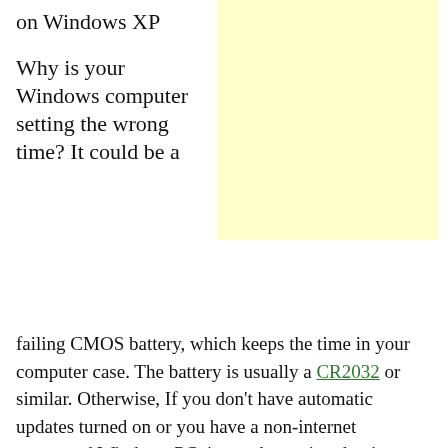on Windows XP
Why is your Windows computer setting the wrong time? It could be a failing CMOS battery, which keeps the time in your computer case. The battery is usually a CR2032 or similar. Otherwise, If you don't have automatic updates turned on or you have a non-internet connected Windows PC, it may be setting the time according to the old daylight savings rules.
[Figure (other): Light yellow advertisement box]
The Energy Policy Act of 2005 changed the official start and end dates for daylight savings time in most of the United States. This also extended daylight savings (i.e. fake time) through November instead of ending in October as it had